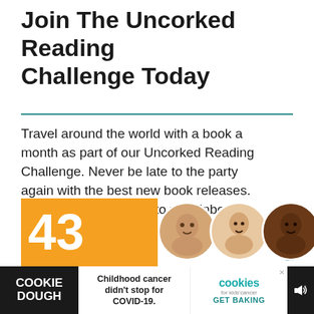Join The Uncorked Reading Challenge Today
Travel around the world with a book a month as part of our Uncorked Reading Challenge. Never be late to the party again with the best new book releases. Get book recs straight to your inbox. Sign Up Now.
[Figure (other): Advertisement banner showing '43 CHILDREN' with children's faces, orange and green background]
[Figure (other): What's Next panel showing 'What You Wish For by...' thumbnail]
[Figure (other): Cookie Dough / cookies for kids' cancer advertisement bar at bottom]